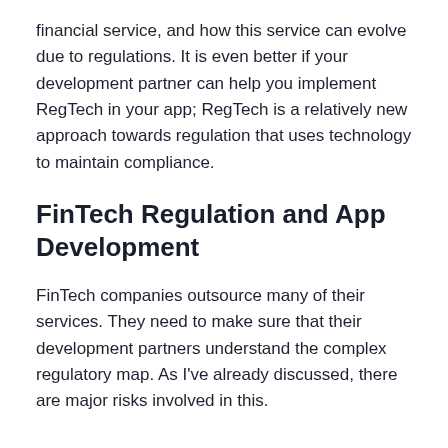financial service, and how this service can evolve due to regulations. It is even better if your development partner can help you implement RegTech in your app; RegTech is a relatively new approach towards regulation that uses technology to maintain compliance.
FinTech Regulation and App Development
FinTech companies outsource many of their services. They need to make sure that their development partners understand the complex regulatory map. As I've already discussed, there are major risks involved in this.